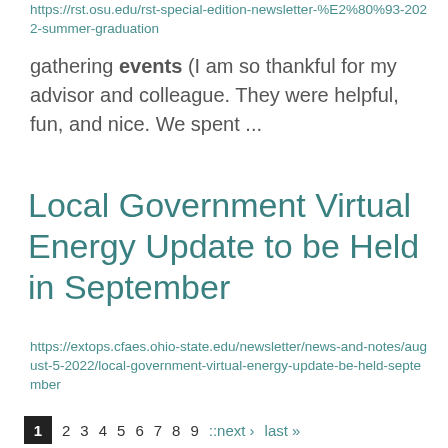https://rst.osu.edu/rst-special-edition-newsletter-%E2%80%93-2022-summer-graduation
gathering events (I am so thankful for my advisor and colleague. They were helpful, fun, and nice. We spent ...
Local Government Virtual Energy Update to be Held in September
https://extops.cfaes.ohio-state.edu/newsletter/news-and-notes/august-5-2022/local-government-virtual-energy-update-be-held-september
virtual event with two focuses: traditional and solar energy changes. It will be panel format with OSU ...
1 2 3 4 5 6 7 8 9 ::next › last »